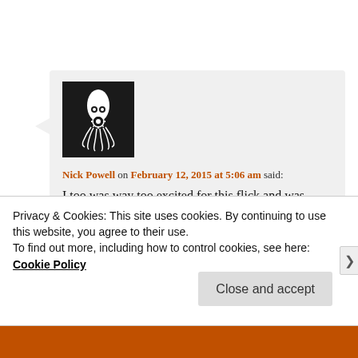[Figure (illustration): Black square avatar with white squid/cephalopod illustration]
Nick Powell on February 12, 2015 at 5:06 am said:
I too was way too excited for this flick and was really upset it got pushed from last year to February. And now that it's in theaters- I have absolutely no urge to see it- such a shame. Thanks for the reminder, Tom!
Privacy & Cookies: This site uses cookies. By continuing to use this website, you agree to their use. To find out more, including how to control cookies, see here: Cookie Policy
Close and accept